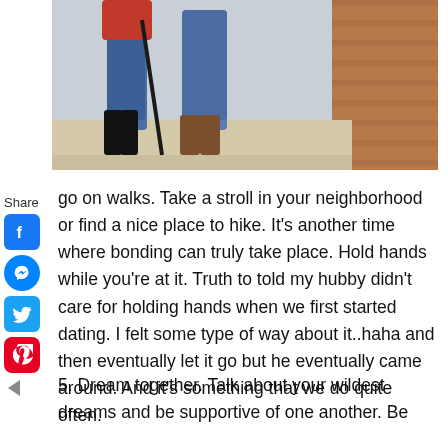[Figure (photo): Close-up photo of two people's legs walking together on a sidewalk near a brick wall. One person wears black boots and jeans, the other wears jeans and brown shoes.]
go on walks.  Take a stroll in your neighborhood or find a nice place to hike.  It's another time where bonding can truly take place.  Hold hands while you're at it.  Truth to told my hubby didn't care for holding hands when we first started dating.  I felt some type of way about it..haha and then eventually let it go but he eventually came around. And it's something that we do quite often.
5. Dream together.  Talk about your wildest dreams and be supportive of one another.  Be